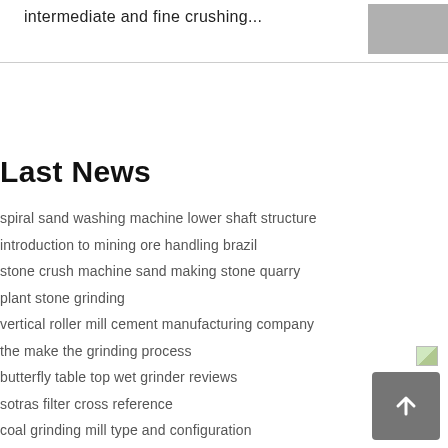intermediate and fine crushing...
[Figure (photo): Grayscale photo of crushed material or machinery, top-right corner]
Last News
spiral sand washing machine lower shaft structure
introduction to mining ore handling brazil
stone crush machine sand making stone quarry
plant stone grinding
vertical roller mill cement manufacturing company
the make the grinding process
butterfly table top wet grinder reviews
sotras filter cross reference
coal grinding mill type and configuration